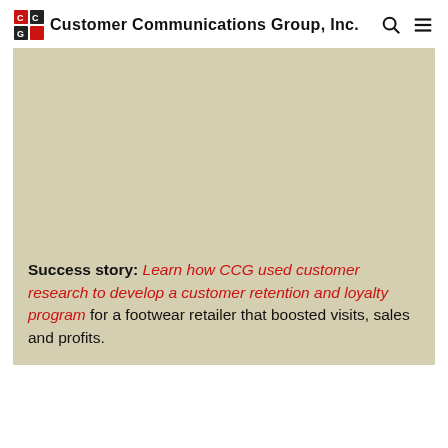Customer Communications Group, Inc.
[Figure (photo): Large tan/beige colored image placeholder occupying the top portion of the card block]
Success story: Learn how CCG used customer research to develop a customer retention and loyalty program for a footwear retailer that boosted visits, sales and profits.